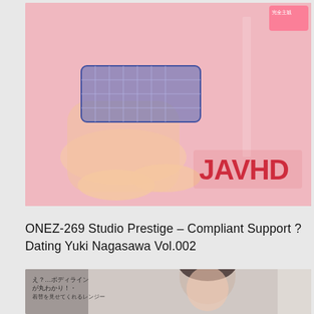[Figure (photo): Japanese DVD cover image showing a young woman in plaid skirt, pink background, with JAVHD logo text in red]
ONEZ-269 Studio Prestige – Compliant Support ? Dating Yuki Nagasawa Vol.002
[Figure (photo): Japanese DVD cover image showing a young woman with short dark hair, partial view, gray and light background]